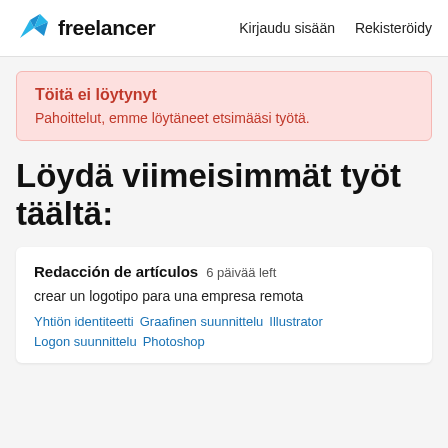freelancer  Kirjaudu sisään  Rekisteröidy
Töitä ei löytynyt
Pahoittelut, emme löytäneet etsimääsi työtä.
Löydä viimeisimmät työt täältä:
Redacción de artículos  6 päivää left
crear un logotipo para una empresa remota
Yhtiön identiteetti  Graafinen suunnittelu  Illustrator  Logon suunnittelu  Photoshop